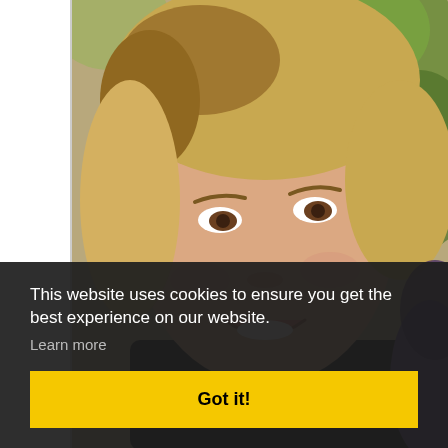[Figure (photo): Close-up photo of a smiling blonde woman outdoors, with green foliage in the background. Another person partially visible on the right side. Left side of the page has a white sidebar with a vertical line.]
This website uses cookies to ensure you get the best experience on our website.
Learn more
Got it!